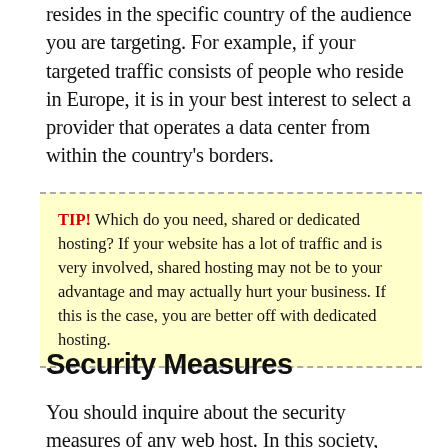resides in the specific country of the audience you are targeting. For example, if your targeted traffic consists of people who reside in Europe, it is in your best interest to select a provider that operates a data center from within the country's borders.
TIP! Which do you need, shared or dedicated hosting? If your website has a lot of traffic and is very involved, shared hosting may not be to your advantage and may actually hurt your business. If this is the case, you are better off with dedicated hosting.
Security Measures
You should inquire about the security measures of any web host. In this society, websites come under attack